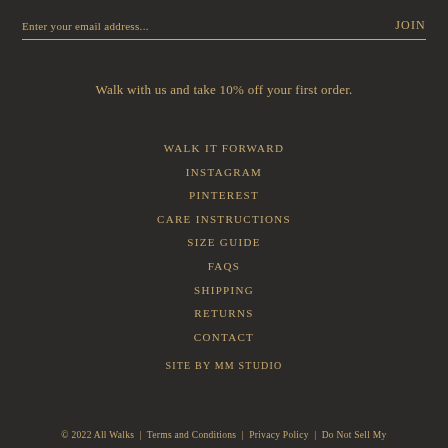Enter your email address...    JOIN
Walk with us and take 10% off your first order.
WALK IT FORWARD
INSTAGRAM
PINTEREST
CARE INSTRUCTIONS
SIZE GUIDE
FAQS
SHIPPING
RETURNS
CONTACT
SITE BY MM STUDIO
© 2022 All Walks  |  Terms and Conditions  |  Privacy Policy  |  Do Not Sell My